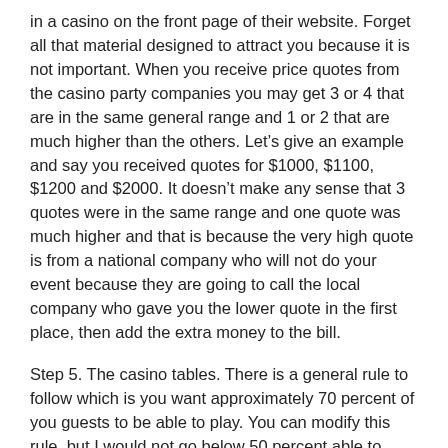in a casino on the front page of their website. Forget all that material designed to attract you because it is not important. When you receive price quotes from the casino party companies you may get 3 or 4 that are in the same general range and 1 or 2 that are much higher than the others. Let’s give an example and say you received quotes for $1000, $1100, $1200 and $2000. It doesn’t make any sense that 3 quotes were in the same range and one quote was much higher and that is because the very high quote is from a national company who will not do your event because they are going to call the local company who gave you the lower quote in the first place, then add the extra money to the bill.
Step 5. The casino tables. There is a general rule to follow which is you want approximately 70 percent of you guests to be able to play. You can modify this rule, but I would not go below 50 percent able to play. The casino company should advise you on this. They should also stay in constant contact with you in the week leading up to the event to revise the